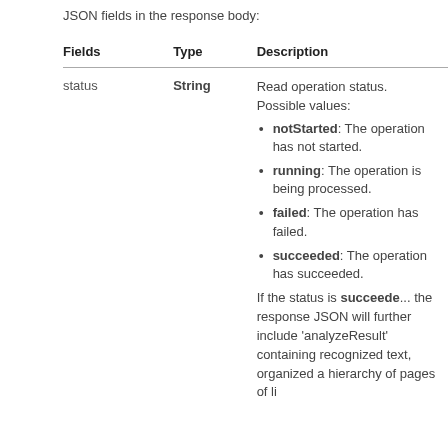JSON fields in the response body:
| Fields | Type | Description |
| --- | --- | --- |
| status | String | Read operation status. Possible values:
• notStarted: The operation has not started.
• running: The operation is being processed.
• failed: The operation has failed.
• succeeded: The operation has succeeded.
If the status is succeeded, the response JSON will further include 'analyzeResult' containing recognized text, organized a hierarchy of pages of li... |